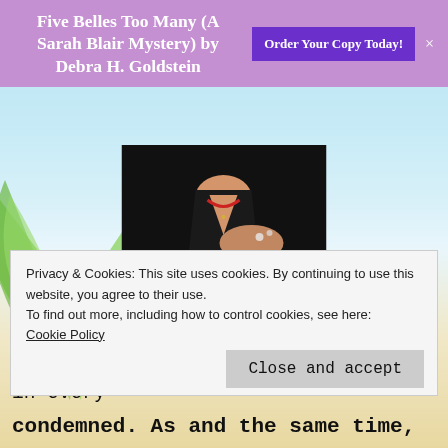Five Belles Too Many (A Sarah Blair Mystery) by Debra H. Goldstein  Order Your Copy Today!
[Figure (photo): Author photo showing a person in dark clothing with jewelry, hands visible at chest level]
Sharon Pape describes her writing career as having two stages. Back in the dark ages, before computers were in every
Privacy & Cookies: This site uses cookies. By continuing to use this website, you agree to their use.
To find out more, including how to control cookies, see here:
Cookie Policy
Close and accept
condemned. As and the same time,